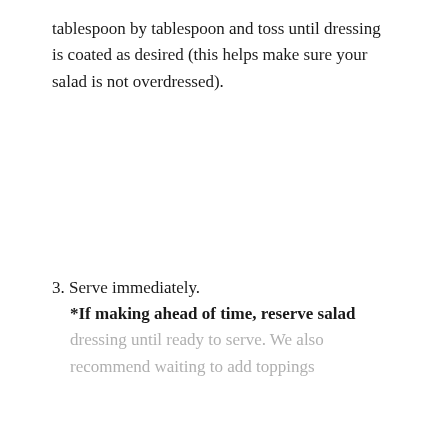tablespoon by tablespoon and toss until dressing is coated as desired (this helps make sure your salad is not overdressed).
3. Serve immediately.
*If making ahead of time, reserve salad dressing until ready to serve. We also recommend waiting to add toppings